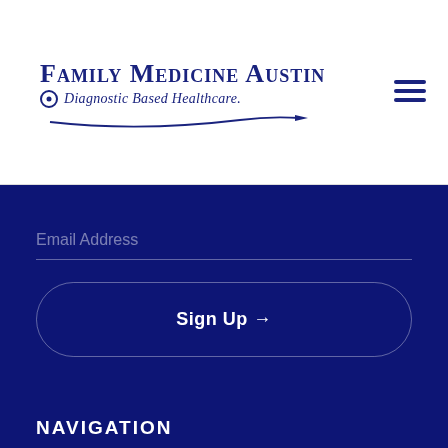[Figure (logo): Family Medicine Austin logo with stethoscope graphic and tagline 'Diagnostic Based Healthcare.']
Email Address
Sign Up →
NAVIGATION
Home
About Us